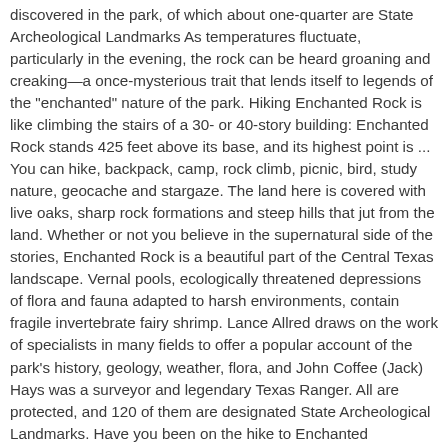discovered in the park, of which about one-quarter are State Archeological Landmarks As temperatures fluctuate, particularly in the evening, the rock can be heard groaning and creaking—a once-mysterious trait that lends itself to legends of the "enchanted" nature of the park. Hiking Enchanted Rock is like climbing the stairs of a 30- or 40-story building: Enchanted Rock stands 425 feet above its base, and its highest point is ... You can hike, backpack, camp, rock climb, picnic, bird, study nature, geocache and stargaze. The land here is covered with live oaks, sharp rock formations and steep hills that jut from the land. Whether or not you believe in the supernatural side of the stories, Enchanted Rock is a beautiful part of the Central Texas landscape. Vernal pools, ecologically threatened depressions of flora and fauna adapted to harsh environments, contain fragile invertebrate fairy shrimp. Lance Allred draws on the work of specialists in many fields to offer a popular account of the park's history, geology, weather, flora, and John Coffee (Jack) Hays was a surveyor and legendary Texas Ranger. All are protected, and 120 of them are designated State Archeological Landmarks. Have you been on the hike to Enchanted Enchanted Rock State Natural Area, which includes Enchanted Rock and surrounding land, spans the border between Gillespie County and Llano County, south of the Llano River. ... More than three decades ago, The Nature Conservancy